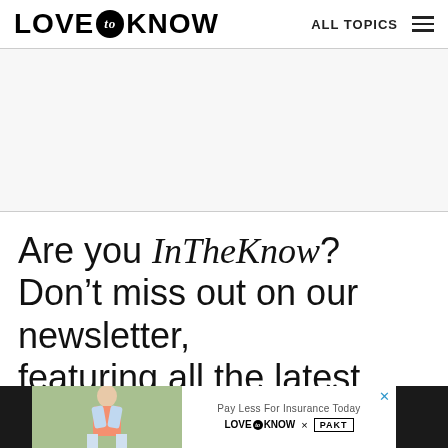LOVE to KNOW   ALL TOPICS
[Figure (other): Advertisement placeholder area, light gray background]
Are you InTheKnow?
Don't miss out on our newsletter, featuring all the latest stories and
[Figure (other): Bottom advertisement banner: dark sides, image of woman on left, center shows 'Pay Less For Insurance Today' with LOVE TO KNOW x PAKT logos, close X button]